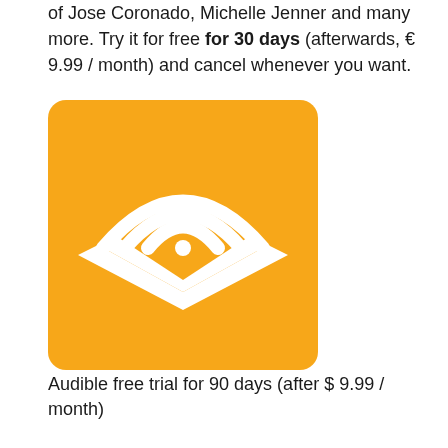of Jose Coronado, Michelle Jenner and many more. Try it for free for 30 days (afterwards, € 9.99 / month) and cancel whenever you want.
[Figure (logo): Audible app logo: orange square with white headphone/book signal icon (wifi-like arcs over an open book shape)]
Audible free trial for 90 days (after $ 9.99 / month)